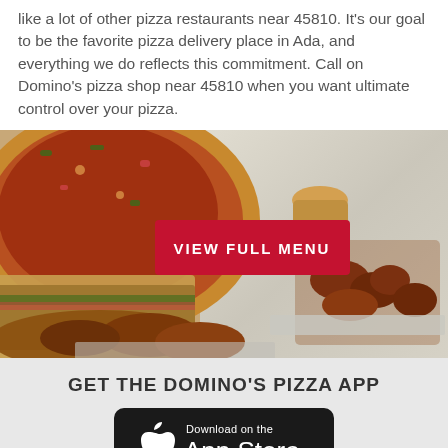like a lot of other pizza restaurants near 45810. It's our goal to be the favorite pizza delivery place in Ada, and everything we do reflects this commitment. Call on Domino's pizza shop near 45810 when you want ultimate control over your pizza.
[Figure (photo): Food photo showing pizza, bread, chicken wings, and other Domino's menu items with a red 'VIEW FULL MENU' button overlay]
GET THE DOMINO'S PIZZA APP
[Figure (logo): Apple App Store download button - black rounded rectangle with Apple logo and 'Download on the App Store' text]